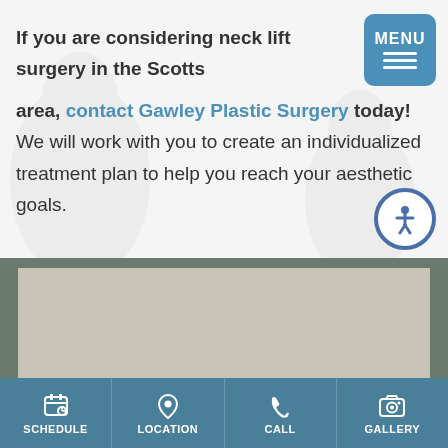If you are considering neck lift surgery in the Scottsdale area, contact Gawley Plastic Surgery today! We will work with you to create an individualized treatment plan to help you reach your aesthetic goals.
[Figure (photo): Photo of a smiling man in a blue patterned shirt in front of a stone/brick wall background]
SCHEDULE | LOCATION | CALL | GALLERY